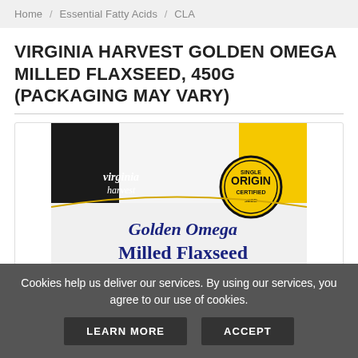Home / Essential Fatty Acids / CLA
VIRGINIA HARVEST GOLDEN OMEGA MILLED FLAXSEED, 450G (PACKAGING MAY VARY)
[Figure (photo): Product photo of Virginia Harvest Golden Omega Milled Flaxseed package, 450g. The bag is yellow and white with a black top section featuring a landscape photo. The brand name 'virginia harvest' is written in script. A circular badge reads 'SINGLE ORIGIN CERTIFIED'. The product name 'Golden Omega Milled Flaxseed' is displayed prominently in blue text on the white lower portion of the bag.]
Cookies help us deliver our services. By using our services, you agree to our use of cookies.
LEARN MORE
ACCEPT